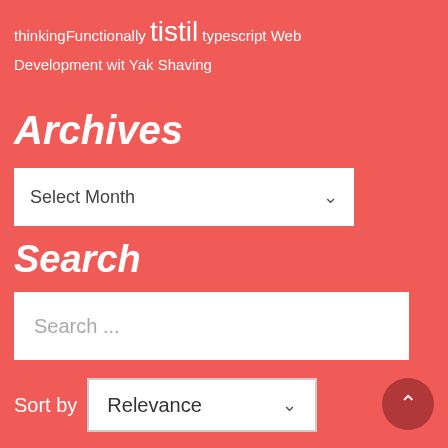thinkingFunctionally tistil typescript Web Development wit Yak Shaving
Archives
Select Month
Search
Search ...
Sort by Relevance